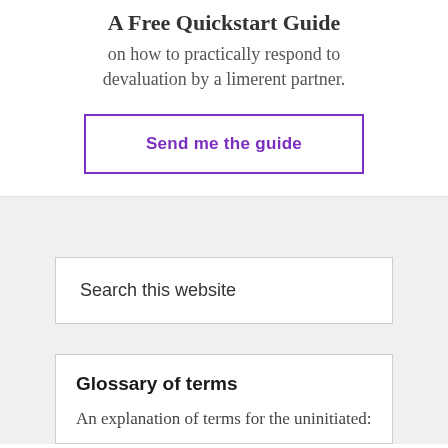A Free Quickstart Guide
on how to practically respond to devaluation by a limerent partner.
Send me the guide
Search this website
Glossary of terms
An explanation of terms for the uninitiated: